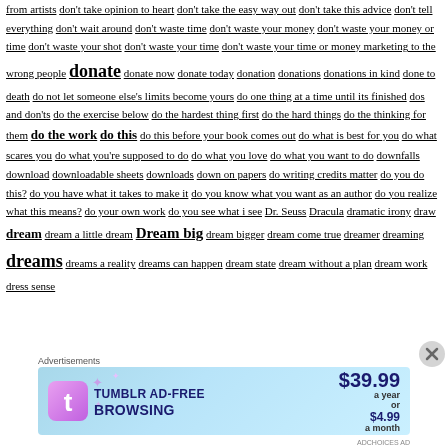from artists don't take opinion to heart don't take the easy way out don't take this advice don't tell everything don't wait around don't waste time don't waste your money don't waste your money or time don't waste your shot don't waste your time don't waste your time or money marketing to the wrong people donate donate now donate today donation donations donations in kind done to death do not let someone else's limits become yours do one thing at a time until its finished dos and don'ts do the exercise below do the hardest thing first do the hard things do the thinking for them do the work do this do this before your book comes out do what is best for you do what scares you do what you're supposed to do do what you love do what you want to do downfalls download downloadable sheets downloads down on papers do writing credits matter do you do this? do you have what it takes to make it do you know what you want as an author do you realize what this means? do your own work do you see what i see Dr. Seuss Dracula dramatic irony draw dream dream a little dream Dream big dream bigger dream come true dreamer dreaming dreams dreams a reality dreams can happen dream state dream without a plan dream work dress sense
[Figure (screenshot): Tumblr Ad-Free Browsing advertisement banner showing $39.99 a year or $4.99 a month pricing with Tumblr 't' logo icon and sparkle decorations on a light blue gradient background]